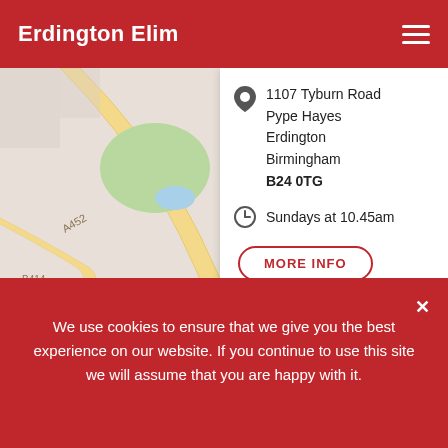Erdington Elim
[Figure (map): Google Maps showing area around 1107 Tyburn Road, Pype Hayes, Erdington, Birmingham B24 0TG with road labels A452, A47, Kingsbury Road, B414, M6 motorway and a red location pin marker]
1107 Tyburn Road
Pype Hayes
Erdington
Birmingham
B24 0TG
Sundays at 10.45am
MORE INFO
We use cookies to ensure that we give you the best experience on our website. If you continue to use this site we will assume that you are happy with it.